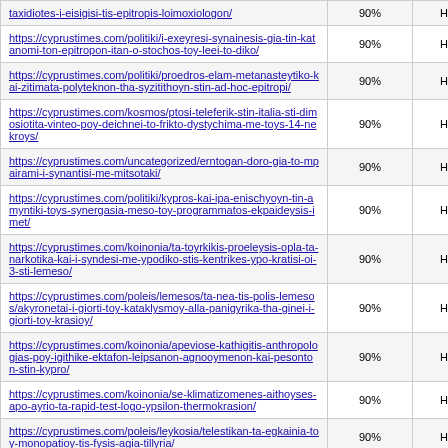| taxidiotes-i-eisigisi-tis-epitropis-loimoxiologon/ | 90% | Hourly |
| https://cyprustimes.com/politiki/i-exeyresi-synainesis-gia-tin-katanomi-ton-epitropon-itan-o-stochos-toy-leei-to-diko/ | 90% | Hourly |
| https://cyprustimes.com/politiki/proedros-elam-metanasteytiko-kai-zitimata-polyteknon-tha-syzitithoyn-stin-ad-hoc-epitropi/ | 90% | Hourly |
| https://cyprustimes.com/kosmos/ptosi-teleferik-stin-italia-sti-dimosiotita-vinteo-poy-deichnei-to-frikto-dystychima-me-toys-14-nekroys/ | 90% | Hourly |
| https://cyprustimes.com/uncategorized/erntogan-doro-gia-to-mpairami-i-synantisi-me-mitsotaki/ | 90% | Hourly |
| https://cyprustimes.com/politiki/kypros-kai-ipa-enischyoyn-tin-amyntiki-toys-synergasia-meso-toy-programmatos-ekpaideysis-imet/ | 90% | Hourly |
| https://cyprustimes.com/koinonia/ta-toyrkikis-proeleysis-opla-ta-narkotika-kai-i-syndesi-me-ypodiko-stis-kentrikes-ypo-kratisi-oi-3-sti-lemeso/ | 90% | Hourly |
| https://cyprustimes.com/poleis/lemesos/ta-nea-tis-polis-lemesos/akyronetai-i-giorti-toy-kataklysmoy-alla-panigyrika-tha-ginei-i-giorti-toy-krasioy/ | 90% | Hourly |
| https://cyprustimes.com/koinonia/apeviose-kathigitis-anthropologias-poy-igithike-ektafon-leipsanon-agnooymenon-kai-pesonton-stin-kypro/ | 90% | Hourly |
| https://cyprustimes.com/koinonia/se-klimatizomenes-aithoyses-apo-ayrio-ta-rapid-test-logo-ypsilon-thermokrasion/ | 90% | Hourly |
| https://cyprustimes.com/poleis/leykosia/telestikan-ta-egkainia-toy-monopatioy-tis-fysis-agia-tillyria/ | 90% | Hourly |